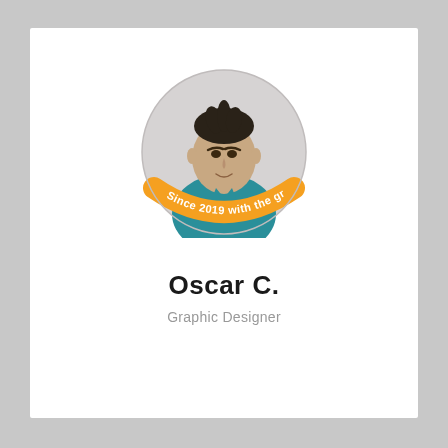[Figure (illustration): Circular profile photo of a young man wearing a teal shirt, with dark spiky hair, against a light grey circular background. An orange banner curves along the bottom of the circle with white text reading 'Since 2019 with the group'.]
Oscar C.
Graphic Designer